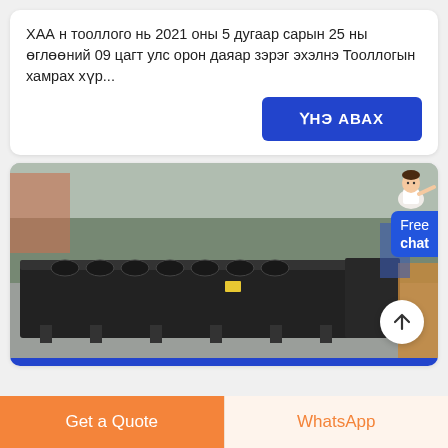ХАА н тооллого нь 2021 оны 5 дугаар сарын 25 ны өглөөний 09 цагт улс орон даяар зэрэг эхэлнэ Тооллогын хамрах хүр...
[Figure (other): Blue button labeled 'ҮНЭ АВАХ' (Get Price)]
[Figure (photo): A large black industrial screw conveyor / auger machine on a factory floor outdoors, with trees and buildings in the background. A woman avatar and 'Free chat' badge appear in the top right corner, and a scroll-up arrow button is in the lower right.]
[Figure (other): Orange 'Get a Quote' button and 'WhatsApp' button in the page footer]